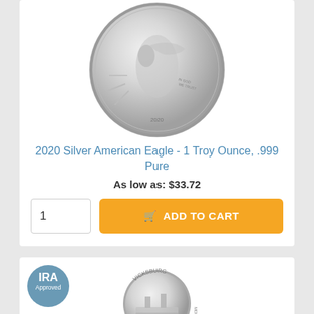[Figure (photo): Silver American Eagle coin showing Walking Liberty design, dated 2020, IN GOD WE TRUST inscription]
2020 Silver American Eagle - 1 Troy Ounce, .999 Pure
As low as: $33.72
[Figure (photo): IRA Approved badge - blue circle with IRA Approved text]
[Figure (photo): Vicksburg silver coin showing steamboat design]